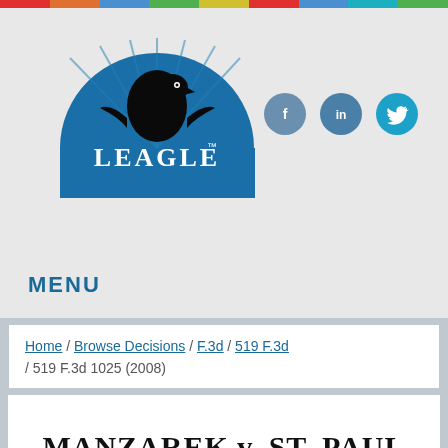[Figure (logo): Leagle.com logo - blue semicircle with eagle silhouette and LEAGLE text]
[Figure (infographic): Social media icons: Facebook, LinkedIn, Twitter]
MENU
Home / Browse Decisions / F.3d / 519 F.3d / 519 F.3d 1025 (2008)
MANZAREK v. ST. PAUL FIRE & MARINE INS.